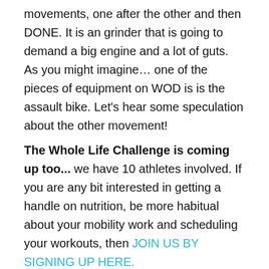movements, one after the other and then DONE. It is an grinder that is going to demand a big engine and a lot of guts. As you might imagine… one of the pieces of equipment on WOD is is the assault bike. Let's hear some speculation about the other movement!
The Whole Life Challenge is coming up too... we have 10 athletes involved. If you are any bit interested in getting a handle on nutrition, be more habitual about your mobility work and scheduling your workouts, then JOIN US BY SIGNING UP HERE.